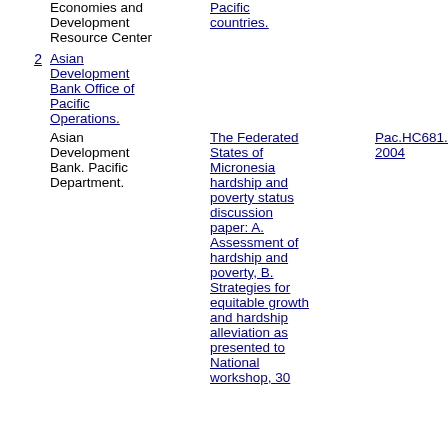Economies and Development Resource Center
Pacific countries.
2  Asian Development Bank Office of Pacific Operations.
Asian Development Bank. Pacific Department.
The Federated States of Micronesia hardship and poverty status discussion paper: A. Assessment of hardship and poverty, B. Strategies for equitable growth and hardship alleviation as presented to National workshop, 30
Pac.HC681.7.Z9A1 2004